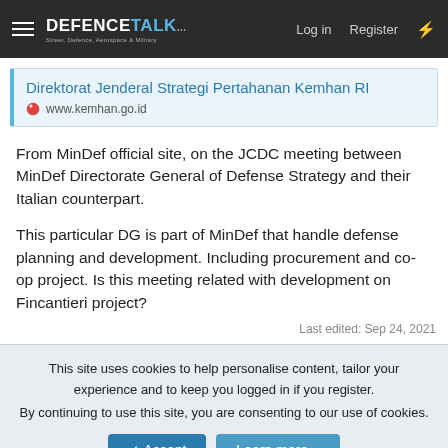DEFENCETALK — Log in | Register
Direktorat Jenderal Strategi Pertahanan Kemhan RI
www.kemhan.go.id
From MinDef official site, on the JCDC meeting between MinDef Directorate General of Defense Strategy and their Italian counterpart.
This particular DG is part of MinDef that handle defense planning and development. Including procurement and co-op project. Is this meeting related with development on Fincantieri project?
Last edited: Sep 24, 2021
This site uses cookies to help personalise content, tailor your experience and to keep you logged in if you register.
By continuing to use this site, you are consenting to our use of cookies.